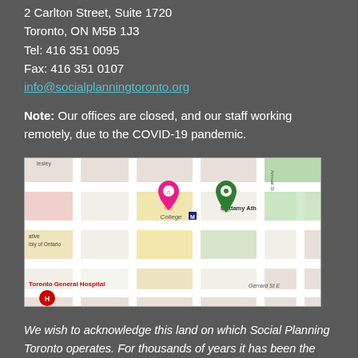2 Carlton Street, Suite 1720
Toronto, ON M5B 1J3
Tel: 416 351 0095
Fax: 416 351 0107
info@socialplanningtoronto.org
Note: Our offices are closed, and our staff working remotely, due to the COVID-19 pandemic.
[Figure (map): Google Maps screenshot showing the area around Social Planning Toronto, near College subway station, Toronto General Hospital, and Mattamy Athletic Centre, with a pink location pin and a green location pin marked on the map.]
We wish to acknowledge this land on which Social Planning Toronto operates. For thousands of years it has been the traditional land of the Huron-Wendat, the Seneca and, most recently, the Mississaugas of the Credit. We are